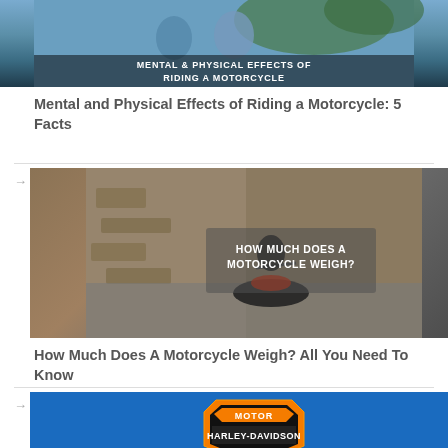[Figure (photo): Article thumbnail: two people smiling outdoors with text overlay 'MENTAL & PHYSICAL EFFECTS OF RIDING A MOTORCYCLE']
Mental and Physical Effects of Riding a Motorcycle: 5 Facts
[Figure (photo): Article thumbnail: motorcyclist riding along rocky road with text overlay 'HOW MUCH DOES A MOTORCYCLE WEIGH?']
How Much Does A Motorcycle Weigh? All You Need To Know
[Figure (logo): Harley-Davidson Motor logo on blue background]